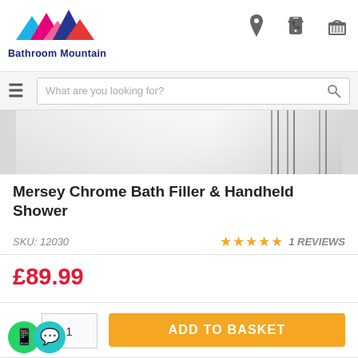[Figure (logo): Bathroom Mountain logo with colorful mountain peaks and bold text]
What are you looking for?
[Figure (photo): Close-up product image of chrome bath filler hardware, silver metallic surface]
Mersey Chrome Bath Filler & Handheld Shower
SKU: 12030
★★★★★ 1 REVIEWS
£89.99
Qty: 1
ADD TO BASKET